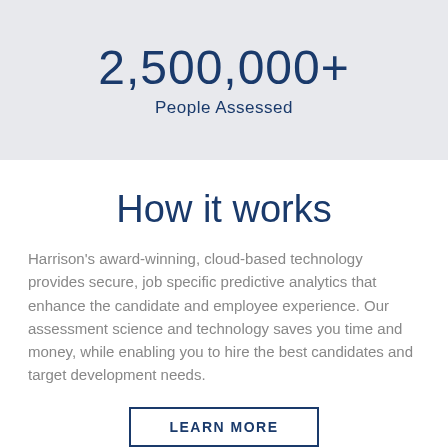2,500,000+
People Assessed
How it works
Harrison's award-winning, cloud-based technology provides secure, job specific predictive analytics that enhance the candidate and employee experience. Our assessment science and technology saves you time and money, while enabling you to hire the best candidates and target development needs.
LEARN MORE